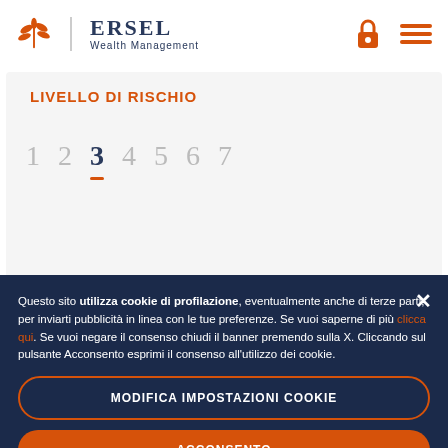[Figure (logo): ERSEL Wealth Management logo with orange leaf/wheat icon and navy blue text]
LIVELLO DI RISCHIO
1  2  3  4  5  6  7  (risk level selector, level 3 selected)
Questo sito utilizza cookie di profilazione, eventualmente anche di terze parti, per inviarti pubblicità in linea con le tue preferenze. Se vuoi saperne di più clicca qui. Se vuoi negare il consenso chiudi il banner premendo sulla X. Cliccando sul pulsante Acconsento esprimi il consenso all'utilizzo dei cookie.
MODIFICA IMPOSTAZIONI COOKIE
ACCONSENTO